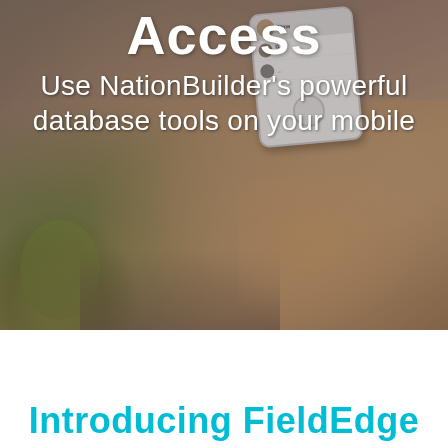[Figure (photo): Person holding a smartphone showing a contacts/database app, hands visible with phone in focus, blurred background with green plant and dark clothing. Text overlay reads 'Access' and 'Use NationBuilder's powerful database tools on your mobile']
Access
Use NationBuilder's powerful database tools on your mobile
Introducing FieldEdge